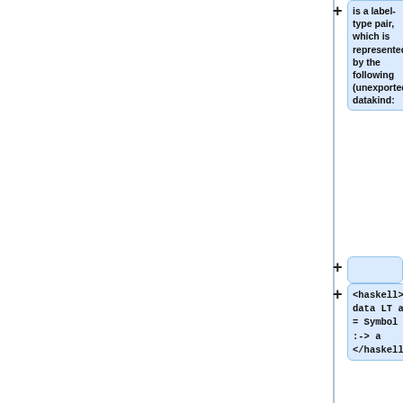is a label-type pair, which is represented by the following (unexported) datakind:
<haskell> data LT a = Symbol :-> a </haskell>
== Rows ==
A row is then simply a list of such label-type pairs:
<haskell>